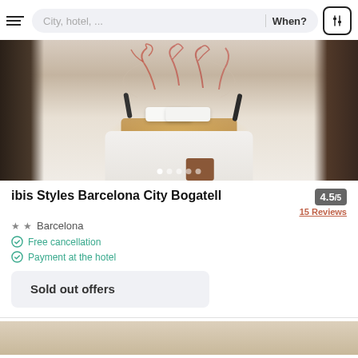[Figure (screenshot): Navigation bar with hamburger menu, city/hotel search field, 'When?' text, and filter icon button]
[Figure (photo): Hotel room interior showing a bed with white pillows, warm wooden headboard with wall-mounted reading lamps, decorative coral-pattern wallpaper, dark wardrobe on left, room details on right]
ibis Styles Barcelona City Bogatell
4.5/5
15 Reviews
★ ★  Barcelona
Free cancellation
Payment at the hotel
Sold out offers